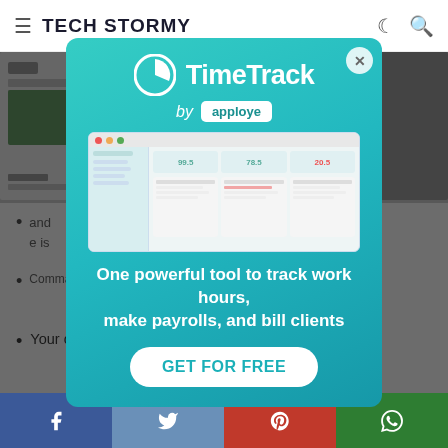TECH STORMY
[Figure (screenshot): Tech Stormy website screenshot showing article thumbnails and content, dimmed behind a modal overlay]
[Figure (infographic): TimeTrack by apploye advertisement modal with logo, app screenshot, tagline 'One powerful tool to track work hours, make payrolls, and bill clients' and GET FOR FREE button]
Your choices are greyed out.
Facebook, Twitter, Pinterest, WhatsApp share buttons